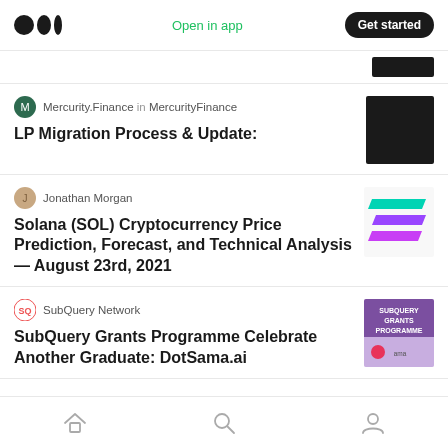Medium — Open in app | Get started
Mercurity.Finance in MercurityFinance
LP Migration Process & Update:
Jonathan Morgan
Solana (SOL) Cryptocurrency Price Prediction, Forecast, and Technical Analysis — August 23rd, 2021
SubQuery Network
SubQuery Grants Programme Celebrate Another Graduate: DotSama.ai
Home | Search | Profile